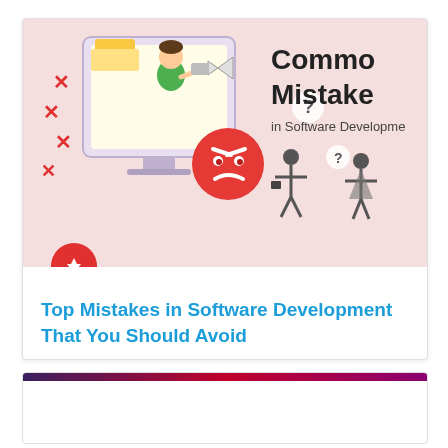[Figure (illustration): Illustration showing a monitor/smartphone with a frustrated person using a megaphone, red angry emoji face, confused stick figures with question marks, red X marks, and text reading 'Common Mistakes in Software Development' on a pink background]
Top Mistakes in Software Development That You Should Avoid
[Figure (illustration): Second card with dark purple to red gradient header bar, content area is blank/white]